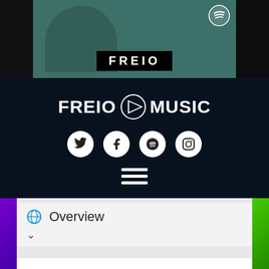[Figure (screenshot): Top image bar showing partial podcast cover with FREIO text logo on dark background and Spotify badge]
FREIO MUSIC
[Figure (logo): Social media icons: Twitter, Facebook, Spotify, Instagram - white circles on dark background]
[Figure (infographic): Hamburger menu icon (three horizontal white lines)]
Overview
The featured artist in this episode of the Freio Music Podcast is Willbeaux. Willbeaux aka Will